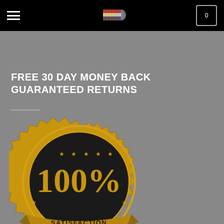Navigation bar with hamburger menu, bullet logo, and cart icon showing 0
FREE 30 DAY MONEY BACK GUARANTEED RETURNS
[Figure (illustration): Gold satisfaction guaranteed seal with '100%' in large text and 'SATISFACTION GUARANTEED' banner across the bottom, with star rating and serrated gold border]